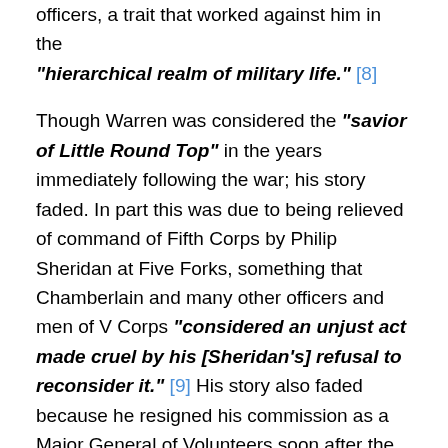officers, a trait that worked against him in the "hierarchical realm of military life." [8]
Though Warren was considered the "savior of Little Round Top" in the years immediately following the war; his story faded. In part this was due to being relieved of command of Fifth Corps by Philip Sheridan at Five Forks, something that Chamberlain and many other officers and men of V Corps "considered an unjust act made cruel by his [Sheridan's] refusal to reconsider it." [9] His story also faded because he resigned his commission as a Major General of Volunteers soon after the war, and returned to relative obscurity working as an Engineer officer along the Mississippi River.
After Warren's untimely death at the age of fifty-three in 1882, three months before he exonerated by the Board of Inquiry, he was forgotten by many. Likewise, the book he